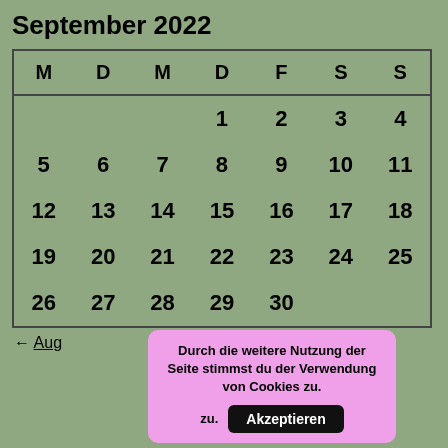September 2022
| M | D | M | D | F | S | S |
| --- | --- | --- | --- | --- | --- | --- |
|  |  |  | 1 | 2 | 3 | 4 |
| 5 | 6 | 7 | 8 | 9 | 10 | 11 |
| 12 | 13 | 14 | 15 | 16 | 17 | 18 |
| 19 | 20 | 21 | 22 | 23 | 24 | 25 |
| 26 | 27 | 28 | 29 | 30 |  |  |
[Figure (other): Cookie consent popup overlay with text 'Durch die weitere Nutzung der Seite stimmst du der Verwendung von Cookies zu.' and an 'Akzeptieren' button]
← Aug